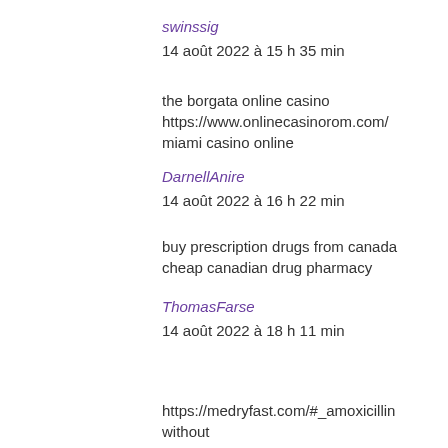swinssig
14 août 2022 à 15 h 35 min
the borgata online casino https://www.onlinecasinorom.com/ miami casino online
DarnellAnire
14 août 2022 à 16 h 22 min
buy prescription drugs from canada cheap canadian drug pharmacy
ThomasFarse
14 août 2022 à 18 h 11 min
https://medryfast.com/#_amoxicillin without